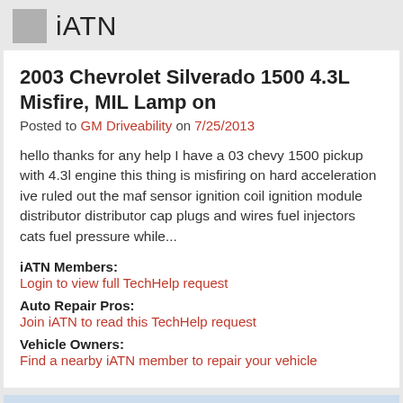iATN
2003 Chevrolet Silverado 1500 4.3L Misfire, MIL Lamp on
Posted to GM Driveability on 7/25/2013
hello thanks for any help I have a 03 chevy 1500 pickup with 4.3l engine this thing is misfiring on hard acceleration ive ruled out the maf sensor ignition coil ignition module distributor distributor cap plugs and wires fuel injectors cats fuel pressure while...
iATN Members:
Login to view full TechHelp request
Auto Repair Pros:
Join iATN to read this TechHelp request
Vehicle Owners:
Find a nearby iATN member to repair your vehicle
Message Closed w/Summary